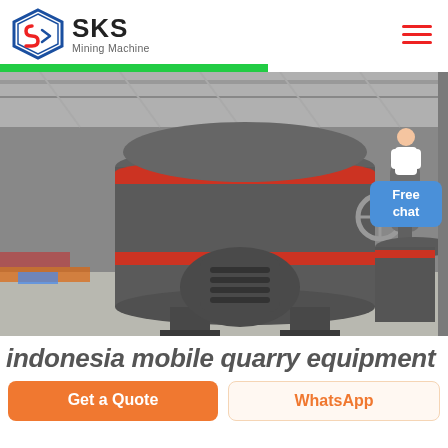[Figure (logo): SKS Mining Machine logo with diamond-shaped icon and text]
[Figure (photo): Industrial mining grinding mill machine on factory floor, large gray cylindrical machine with red bands, in a warehouse setting]
indonesia mobile quarry equipment
Get a Quote
WhatsApp